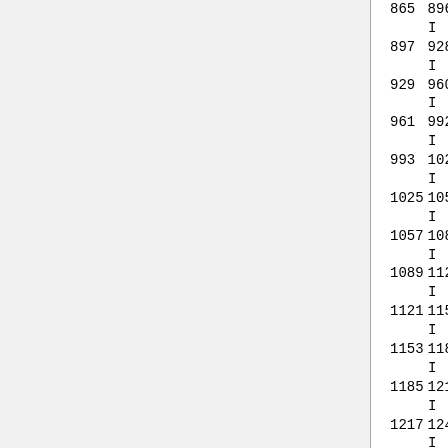| From | To | Code |  | No. |
| --- | --- | --- | --- | --- |
| 865 | 896 | D2 | I | 57 |
| 897 | 928 | D3 | I | 58 |
| 929 | 960 | D4 | I | 59 |
| 961 | 992 | D5 | I | 60 |
| 993 | 1024 | D6 | I | 61 |
| 1025 | 1056 | DBA | I | 62 |
| 1057 | 1088 | DCA | I | 63 |
| 1089 | 1120 | DDA | I | 64 |
| 1121 | 1152 | DEA | I | 65 |
| 1153 | 1184 | DFA | I | 66 |
| 1185 | 1216 | DGA | I | 67 |
| 1217 | 1248 | DHA | I | 68 |
| 1249 | 1280 | DIA | I | 69 |
| 1281 | 1312 | DJA | I | 70 |
| 1313 | 1344 | DKA | I | 71 |
| 1345 | 1376 | DLA | I | 72 |